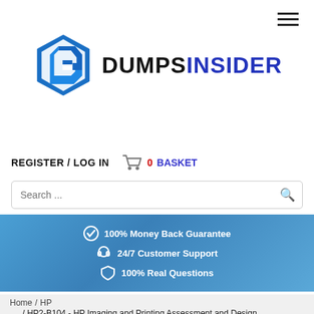[Figure (logo): Dumps Insider logo with hexagonal arrow icon in blue and text DUMPS in black, INSIDER in blue]
REGISTER / LOG IN
0 BASKET
Search ...
[Figure (infographic): Blue banner with three items: 100% Money Back Guarantee, 24/7 Customer Support, 100% Real Questions]
Home / HP / HP2-B104 - HP Imaging and Printing Assessment and Design